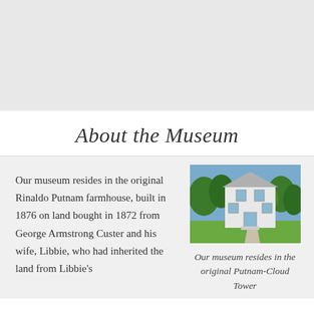[Figure (photo): Gray placeholder/banner area at top of page]
About the Museum
Our museum resides in the original Rinaldo Putnam farmhouse, built in 1876 on land bought in 1872 from George Armstrong Custer and his wife, Libbie, who had inherited the land from Libbie's
[Figure (photo): Photo of a white two-story farmhouse with green trees and a walkway in front]
Our museum resides in the original Putnam-Cloud Tower